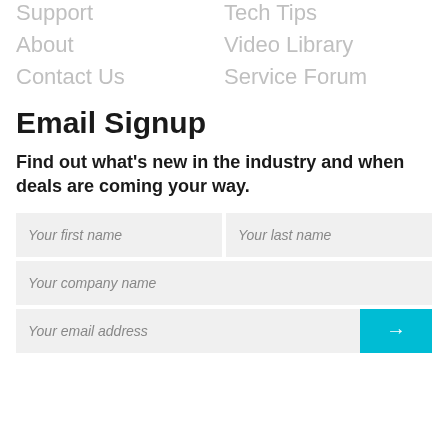Support
Tech Tips
About
Video Library
Contact Us
Service Forum
Email Signup
Find out what's new in the industry and when deals are coming your way.
[Figure (other): Email signup form with fields: Your first name, Your last name, Your company name, Your email address, and a teal submit arrow button]